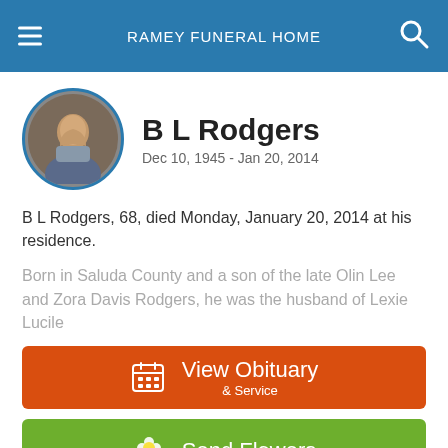RAMEY FUNERAL HOME
B L Rodgers
Dec 10, 1945 - Jan 20, 2014
B L Rodgers, 68, died Monday, January 20, 2014 at his residence.
Born in Saluda County and a son of the late Olin Lee and Zora Davis Rodgers, he was the husband of Lexie Lucile
View Obituary & Service
Send Flowers